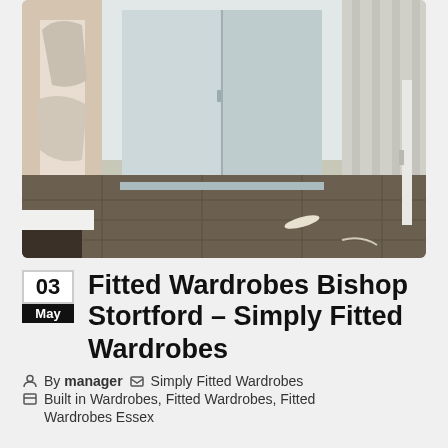[Figure (photo): Interior photo showing fitted wardrobes with light blue/grey panels against a wall, with bare concrete floor and partially plastered walls visible]
03 May Fitted Wardrobes Bishop Stortford – Simply Fitted Wardrobes
By manager   Simply Fitted Wardrobes
Built in Wardrobes, Fitted Wardrobes, Fitted Wardrobes Essex